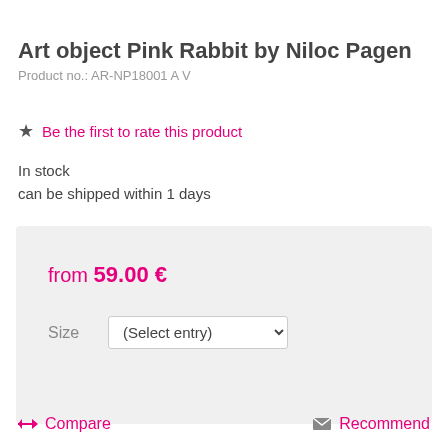Art object Pink Rabbit by Niloc Pagen
Product no.: AR-NP18001 A V
Be the first to rate this product
In stock
can be shipped within 1 days
from 59.00 €
Size
(Select entry)
Buy now!
Compare
Recommend